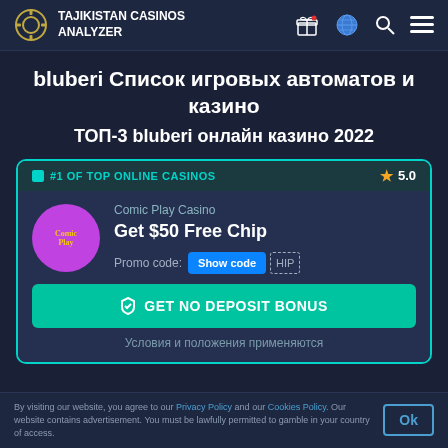TAJIKISTAN CASINOS ANALYZER
bluberi Список игровых автоматов и казино
ТОП-3 bluberi онлайн казино 2022
[Figure (infographic): Casino card for Comic Play Casino showing #1 of Top Online Casinos badge with rating 5.0 star, logo, offer 'Get $50 Free Chip', promo code 'Show code HIP' button, and 'GET NO DEPOSIT BONUS' button. Terms text: Условия и положения применяются.]
By visiting our website, you agree to our Privacy Policy and our Cookies Policy. Our website contains advertisement. You must be lawfully permitted to gamble in your country of access.